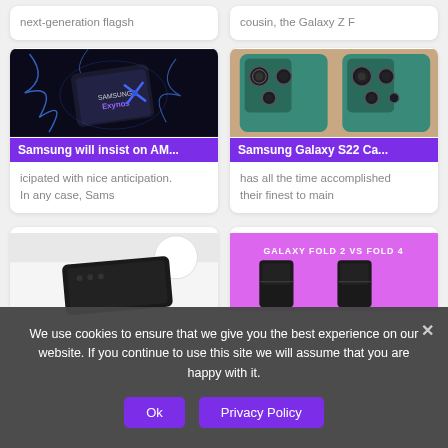next-generation flagsh
cousin, the Galaxy Z F
[Figure (photo): Samsung Exynos chip with blue lightning effects on dark background]
Samsung will insist on AM...
icipated with nice anticipation. In any case, Sams
[Figure (photo): Samsung Galaxy S22 rear camera module showing multiple lenses in teal/blue color]
Samsung Galaxy S22 Ca...
has all the time accomplished their finest to main
[Figure (photo): Black Samsung phone lying on white surface]
[Figure (photo): Galaxy Fold 2 vs Fold 4 comparison image on pink/magenta background]
We use cookies to ensure that we give you the best experience on our website. If you continue to use this site we will assume that you are happy with it.
Ok
Privacy Policy